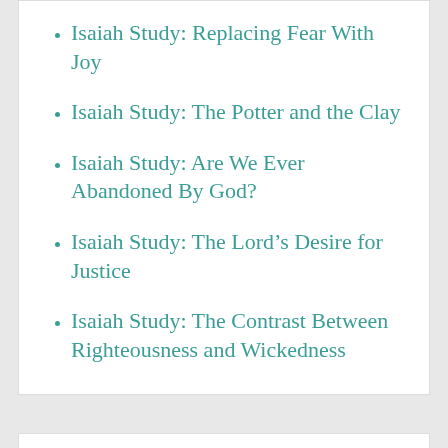Isaiah Study: Replacing Fear With Joy
Isaiah Study: The Potter and the Clay
Isaiah Study: Are We Ever Abandoned By God?
Isaiah Study: The Lord's Desire for Justice
Isaiah Study: The Contrast Between Righteousness and Wickedness
Top Posts
Advertisements